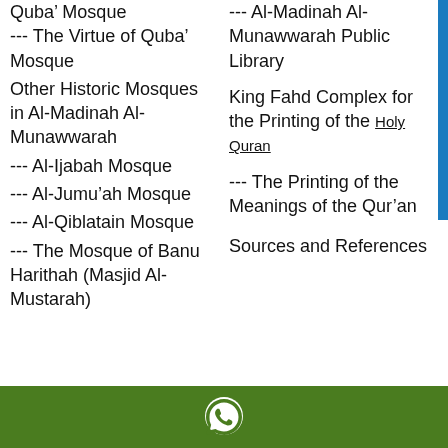Quba' Mosque --- The Virtue of Quba' Mosque
Other Historic Mosques in Al-Madinah Al-Munawwarah
--- Al-Ijabah Mosque
--- Al-Jumu'ah Mosque
--- Al-Qiblatain Mosque
--- The Mosque of Banu Harithah (Masjid Al-Mustarah)
--- Al-Madinah Al-Munawwarah Public Library
King Fahd Complex for the Printing of the Holy Quran
--- The Printing of the Meanings of the Qur'an
Sources and References